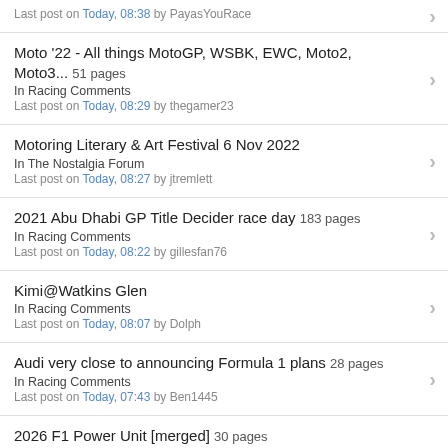Last post on Today, 08:38 by PayasYouRace
Moto '22 - All things MotoGP, WSBK, EWC, Moto2, Moto3... 51 pages
In Racing Comments
Last post on Today, 08:29 by thegamer23
Motoring Literary & Art Festival 6 Nov 2022
In The Nostalgia Forum
Last post on Today, 08:27 by jtremlett
2021 Abu Dhabi GP Title Decider race day 183 pages
In Racing Comments
Last post on Today, 08:22 by gillesfan76
Kimi@Watkins Glen
In Racing Comments
Last post on Today, 08:07 by Dolph
Audi very close to announcing Formula 1 plans 28 pages
In Racing Comments
Last post on Today, 07:43 by Ben1445
2026 F1 Power Unit [merged] 30 pages
In Racing Comments
Last post on Today, 07:18 by Ben1445